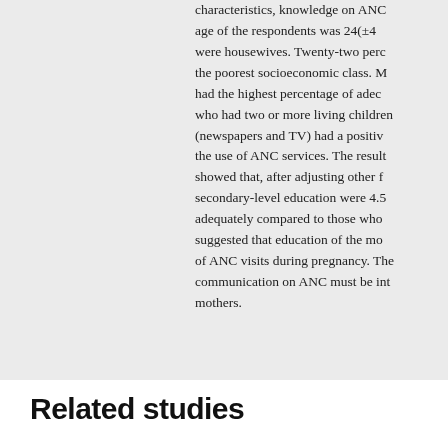characteristics, knowledge on ANC age of the respondents was 24(±4 were housewives. Twenty-two perc the poorest socioeconomic class. M had the highest percentage of adec who had two or more living children (newspapers and TV) had a positiv the use of ANC services. The result showed that, after adjusting other f secondary-level education were 4.5 adequately compared to those who suggested that education of the mo of ANC visits during pregnancy. The communication on ANC must be int mothers.
Related studies